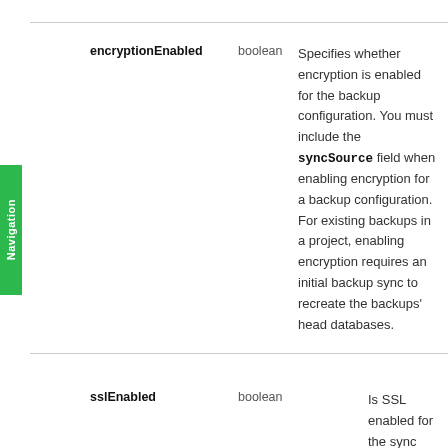| Field | Type | Description |
| --- | --- | --- |
| encryptionEnabled | boolean | Specifies whether encryption is enabled for the backup configuration. You must include the syncSource field when enabling encryption for a backup configuration. For existing backups in a project, enabling encryption requires an initial backup sync to recreate the backups' head databases. |
| sslEnabled | boolean | Is SSL enabled for the sync source database? |
| excludedNamespaces | string | A list of database names and |